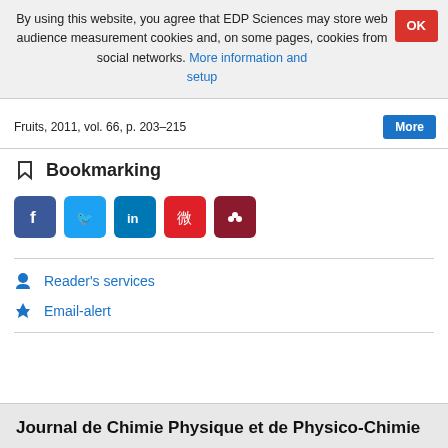By using this website, you agree that EDP Sciences may store web audience measurement cookies and, on some pages, cookies from social networks. More information and setup
Fruits, 2011, vol. 66, p. 203–215
Bookmarking
[Figure (other): Social media sharing buttons: Facebook, Twitter, LinkedIn, Weibo, Mendeley]
Reader's services
Email-alert
Journal de Chimie Physique et de Physico-Chimie